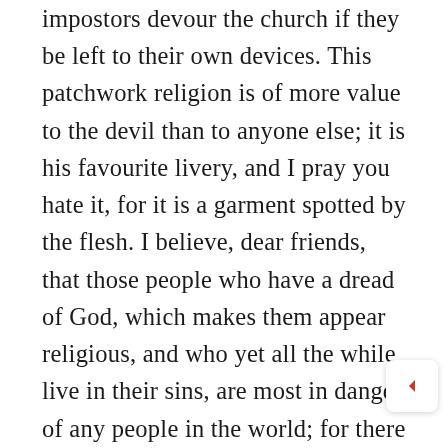impostors devour the church if they be left to their own devices. This patchwork religion is of more value to the devil than to anyone else; it is his favourite livery, and I pray you hate it, for it is a garment spotted by the flesh. I believe, dear friends, that those people who have a dread of God, which makes them appear religious, and who yet all the while live in their sins, are most in danger of any people in the world; for there is no getting at them to save them. You preach to sinners, and they say, “He does not mean us, for we are saints.” You bring the thunders of the law to bear on